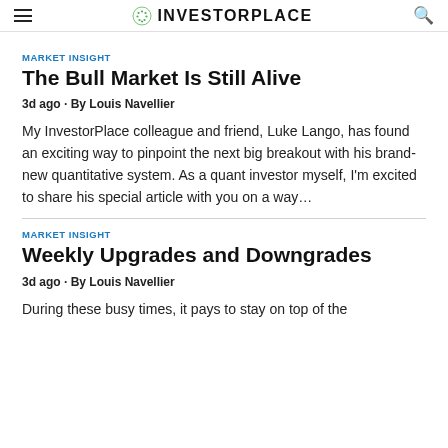INVESTORPLACE
MARKET INSIGHT
The Bull Market Is Still Alive
3d ago · By Louis Navellier
My InvestorPlace colleague and friend, Luke Lango, has found an exciting way to pinpoint the next big breakout with his brand-new quantitative system. As a quant investor myself, I'm excited to share his special article with you on a way…
MARKET INSIGHT
Weekly Upgrades and Downgrades
3d ago · By Louis Navellier
During these busy times, it pays to stay on top of the